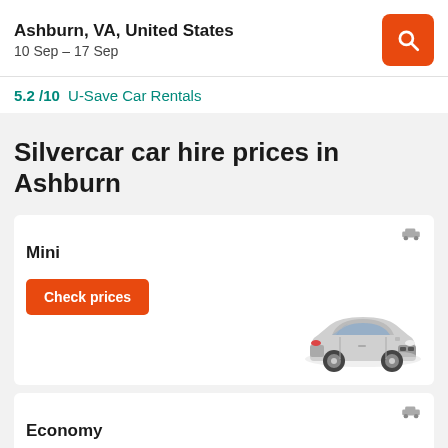Ashburn, VA, United States
10 Sep – 17 Sep
5.2 /10  U-Save Car Rentals
Silvercar car hire prices in Ashburn
Mini
Check prices
[Figure (photo): Silver Mini Cooper car illustration]
Economy
[Figure (photo): Silver economy sedan car illustration]